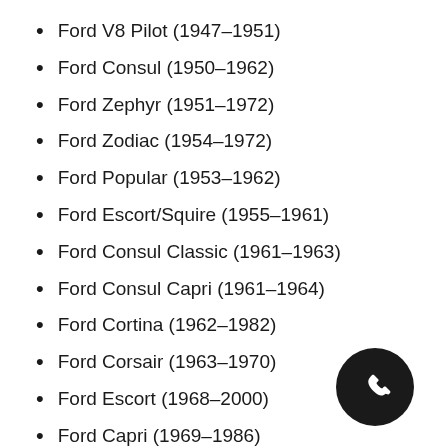Ford V8 Pilot (1947–1951)
Ford Consul (1950–1962)
Ford Zephyr (1951–1972)
Ford Zodiac (1954–1972)
Ford Popular (1953–1962)
Ford Escort/Squire (1955–1961)
Ford Consul Classic (1961–1963)
Ford Consul Capri (1961–1964)
Ford Cortina (1962–1982)
Ford Corsair (1963–1970)
Ford Escort (1968–2000)
Ford Capri (1969–1986)
Ford Granada (1972–
Ford Fiesta (1976–pre